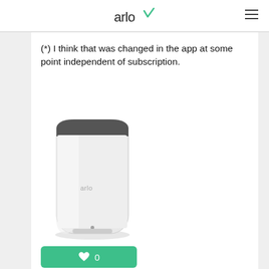arlo
(*) I think that was changed in the app at some point independent of subscription.
[Figure (photo): Arlo Ultra SmartHub VMB5000 device - a white rounded rectangular base station unit with dark top and arlo logo on front]
ARLO
Ultra SmartHub VMB5000
Base Stations